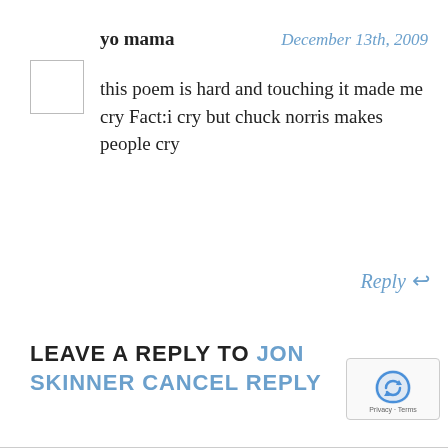yo mama — December 13th, 2009
this poem is hard and touching it made me cry Fact:i cry but chuck norris makes people cry
Reply ↩
LEAVE A REPLY TO JON SKINNER CANCEL REPLY